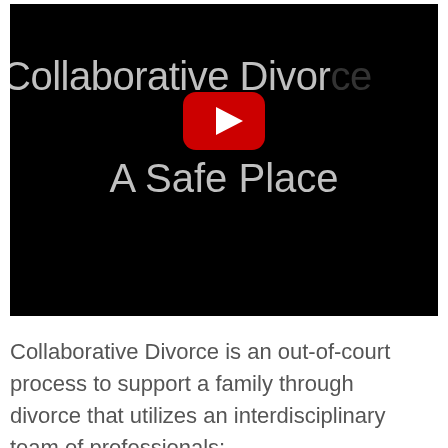[Figure (screenshot): YouTube video thumbnail with black background showing text 'Collaborative Divorce A Safe Place' with a red YouTube play button in the center]
Collaborative Divorce is an out-of-court process to support a family through divorce that utilizes an interdisciplinary team of professionals: